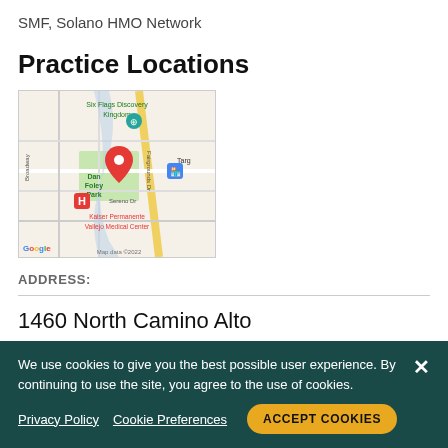SMF, Solano HMO Network
Practice Locations
[Figure (map): Google Maps screenshot showing the area around Dan Foley Park in Vallejo, CA. Shows Six Flags Discovery Kingdom, Kaiser Permanente Vallejo Medical Center, a red map pin marker, and nearby streets. Google logo and 'Map data ©2022' watermark visible.]
ADDRESS:
1460 North Camino Alto
Suite 109
We use cookies to give you the best possible user experience. By continuing to use the site, you agree to the use of cookies.
Privacy Policy  Cookie Preferences  ACCEPT COOKIES